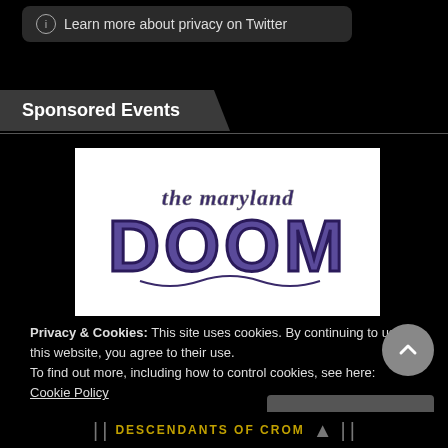Learn more about privacy on Twitter
Sponsored Events
[Figure (logo): The Maryland DOOM logo — stylized gothic lettering in purple/dark blue tones on white background]
Privacy & Cookies: This site uses cookies. By continuing to use this website, you agree to their use.
To find out more, including how to control cookies, see here:
Cookie Policy
Close and accept
DESCENDANTS OF CROM